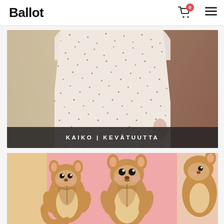Ballot
[Figure (photo): Woman wearing a white/cream speckled short-sleeve dress standing against a stone column and brick wall background]
KAIKO | KEVÄTUUTTA
[Figure (photo): Close-up of pink garment with cute cartoon chipmunk/squirrel print pattern]